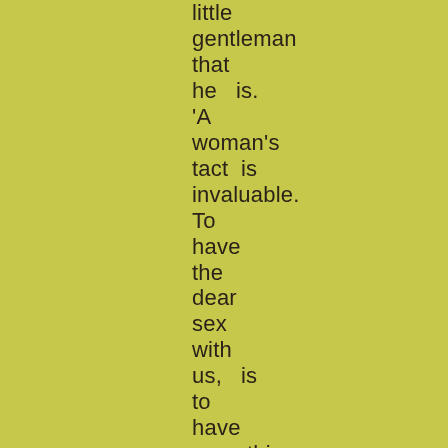little gentleman that he   is. 'A woman's tact  is invaluable. To have the dear sex with us,   is to have everything with